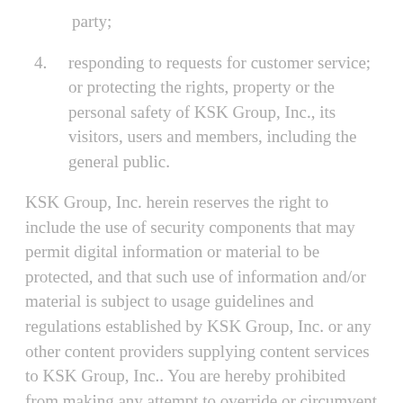party;
4. responding to requests for customer service; or protecting the rights, property or the personal safety of KSK Group, Inc., its visitors, users and members, including the general public.
KSK Group, Inc. herein reserves the right to include the use of security components that may permit digital information or material to be protected, and that such use of information and/or material is subject to usage guidelines and regulations established by KSK Group, Inc. or any other content providers supplying content services to KSK Group, Inc.. You are hereby prohibited from making any attempt to override or circumvent any of the embedded usage rules in our Services. Furthermore, unauthorized reproduction, reverse-